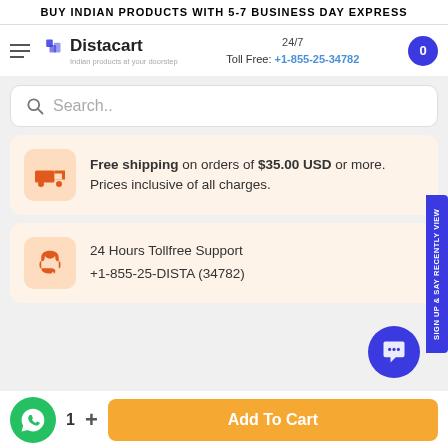BUY INDIAN PRODUCTS WITH 5-7 BUSINESS DAY EXPRESS
[Figure (logo): Distacart logo with tagline 'Indian products at your doorstep']
24/7 Toll Free: +1-855-25-34782
Search..
Free shipping on orders of $35.00 USD or more. Prices inclusive of all charges.
24 Hours Tollfree Support
+1-855-25-DISTA (34782)
1  +   Add To Cart
sign up & say RECENTLY VIEW